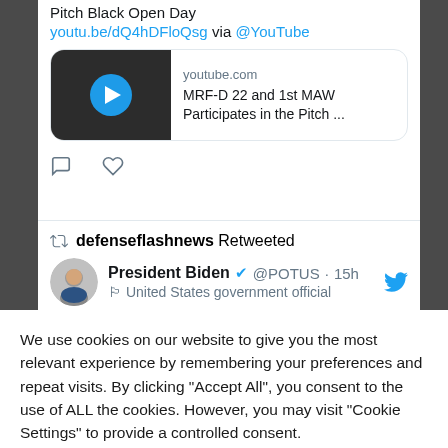Pitch Black Open Day
youtu.be/dQ4hDFloQsg via @YouTube
[Figure (screenshot): YouTube video card thumbnail showing MRF-D 22 and 1st MAW Participates in the Pitch...]
youtube.com
MRF-D 22 and 1st MAW Participates in the Pitch ...
defenseflashnews Retweeted
President Biden @POTUS · 15h
United States government official
We use cookies on our website to give you the most relevant experience by remembering your preferences and repeat visits. By clicking "Accept All", you consent to the use of ALL the cookies. However, you may visit "Cookie Settings" to provide a controlled consent.
Cookie Settings
Accept All